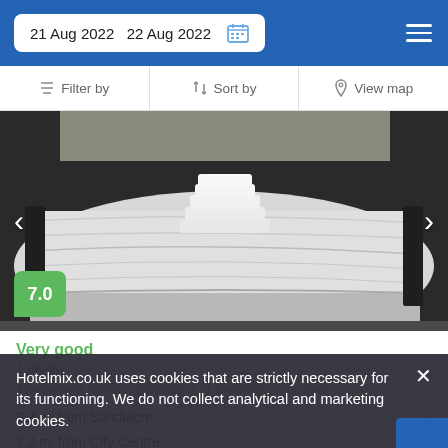21 Aug 2022  22 Aug 2022
Filter by
Sort by
View map
[Figure (photo): Hotel room photo showing a white bed with folded towels/linens arranged on top, dark headboard and carpet visible]
7.0
Very good
1 review
The largest option:  3 adults  •  1 bedroom  •  2 beds
3.2 mi from Sandiacre
3.2 mi from City Centre
Hotelmix.co.uk uses cookies that are strictly necessary for its functioning. We do not collect analytical and marketing cookies.